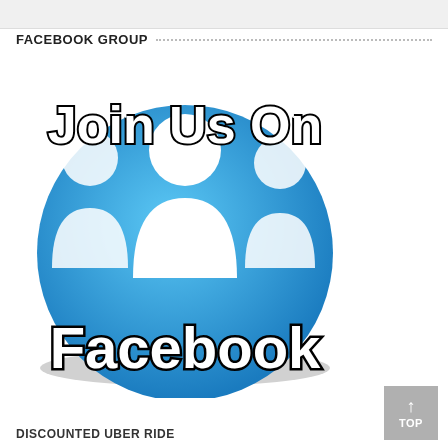FACEBOOK GROUP
[Figure (illustration): Circular blue Facebook group icon with three white silhouette figures, overlaid with bold black text reading 'Join Us On Facebook']
DISCOUNTED UBER RIDE